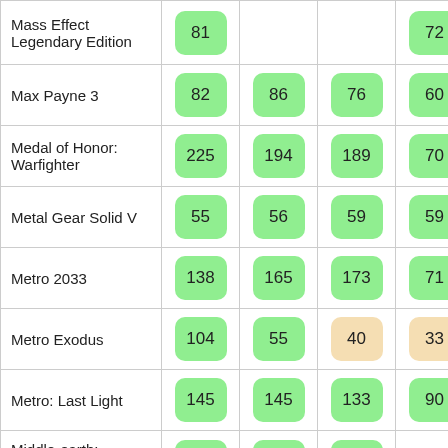| Game | Col1 | Col2 | Col3 | Col4 |
| --- | --- | --- | --- | --- |
| Mass Effect Legendary Edition | 81 |  |  | 72 |
| Max Payne 3 | 82 | 86 | 76 | 60 |
| Medal of Honor: Warfighter | 225 | 194 | 189 | 70 |
| Metal Gear Solid V | 55 | 56 | 59 | 59 |
| Metro 2033 | 138 | 165 | 173 | 71 |
| Metro Exodus | 104 | 55 | 40 | 33 |
| Metro: Last Light | 145 | 145 | 133 | 90 |
| Middle-earth: Shadow... |  |  |  |  |